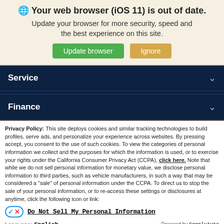🌐 Your web browser (iOS 11) is out of date. Update your browser for more security, speed and the best experience on this site.
Update browser | Ignore
Service
Finance
Privacy Policy: This site deploys cookies and similar tracking technologies to build profiles, serve ads, and personalize your experience across websites. By pressing accept, you consent to the use of such cookies. To view the categories of personal information we collect and the purposes for which the information is used, or to exercise your rights under the California Consumer Privacy Act (CCPA), click here. Note that while we do not sell personal information for monetary value, we disclose personal information to third parties, such as vehicle manufacturers, in such a way that may be considered a "sale" of personal information under the CCPA. To direct us to stop the sale of your personal information, or to re-access these settings or disclosures at anytime, click the following icon or link:
Do Not Sell My Personal Information
Language: English
Accept and Continue → | California Privacy Disclosures | ×